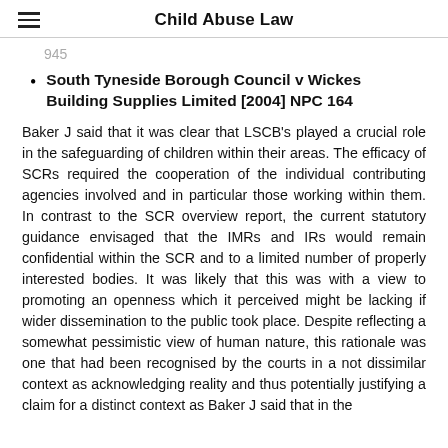Child Abuse Law
945
South Tyneside Borough Council v Wickes Building Supplies Limited [2004] NPC 164
Baker J said that it was clear that LSCB’s played a crucial role in the safeguarding of children within their areas. The efficacy of SCRs required the cooperation of the individual contributing agencies involved and in particular those working within them. In contrast to the SCR overview report, the current statutory guidance envisaged that the IMRs and IRs would remain confidential within the SCR and to a limited number of properly interested bodies. It was likely that this was with a view to promoting an openness which it perceived might be lacking if wider dissemination to the public took place. Despite reflecting a somewhat pessimistic view of human nature, this rationale was one that had been recognised by the courts in a not dissimilar context as acknowledging reality and thus potentially justifying a claim for a distinct context as Baker J said that in the